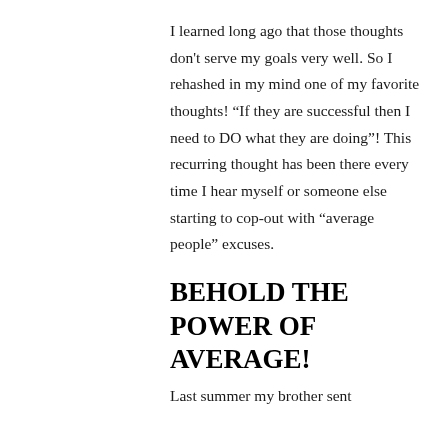I learned long ago that those thoughts don't serve my goals very well. So I rehashed in my mind one of my favorite thoughts! “If they are successful then I need to DO what they are doing”! This recurring thought has been there every time I hear myself or someone else starting to cop-out with “average people” excuses.
BEHOLD THE POWER OF AVERAGE!
Last summer my brother sent